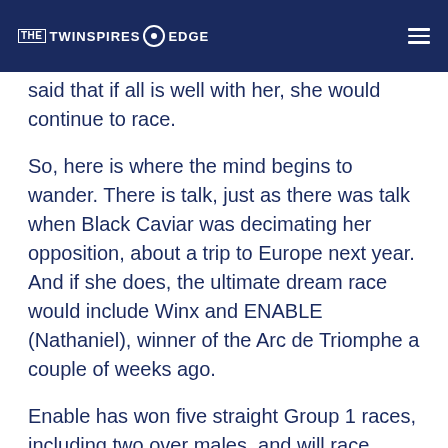THE TWINSPIRES EDGE
said that if all is well with her, she would continue to race.
So, here is where the mind begins to wander. There is talk, just as there was talk when Black Caviar was decimating her opposition, about a trip to Europe next year. And if she does, the ultimate dream race would include Winx and ENABLE (Nathaniel), winner of the Arc de Triomphe a couple of weeks ago.
Enable has won five straight Group 1 races, including two over males, and will race again next year for Juddmonte Farms before eventually being mated with ARROGATE (Unbridled's Song). Her forte is 1 ½ miles while Winx has been able to